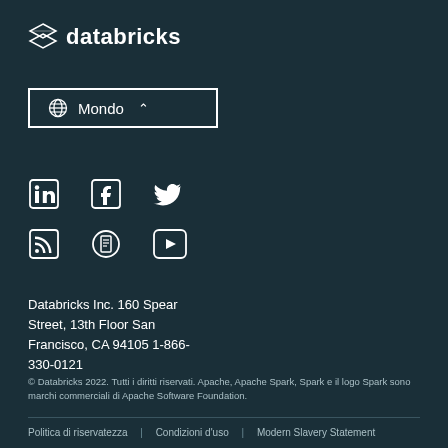[Figure (logo): Databricks logo with stacked layers icon and text 'databricks' in white on dark teal background]
Mondo ^
[Figure (other): Social media icons row 1: LinkedIn, Facebook, Twitter]
[Figure (other): Social media icons row 2: RSS, some icon, YouTube]
Databricks Inc. 160 Spear Street, 13th Floor San Francisco, CA 94105 1-866-330-0121
© Databricks 2022. Tutti i diritti riservati. Apache, Apache Spark, Spark e il logo Spark sono marchi commerciali di Apache Software Foundation.
Politica di riservatezza | Condizioni d'uso | Modern Slavery Statement